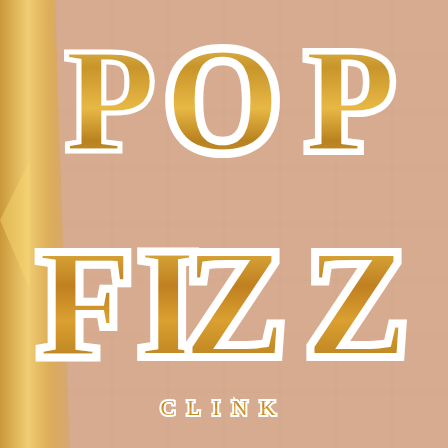[Figure (photo): Close-up photograph of a pink/blush fabric item (appears to be a bag or cushion) with large gold metallic Art Deco style lettering reading 'POP' on the top half and 'FIZZ' below it, with 'CLINK' in smaller gold spaced letters at the bottom. The gold letters have white outline/inner stroke. A gold metallic fabric is visible on the left edge.]